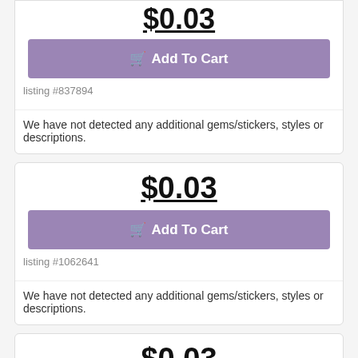$0.03
Add To Cart
listing #837894
We have not detected any additional gems/stickers, styles or descriptions.
$0.03
Add To Cart
listing #1062641
We have not detected any additional gems/stickers, styles or descriptions.
$0.03
Add To Cart